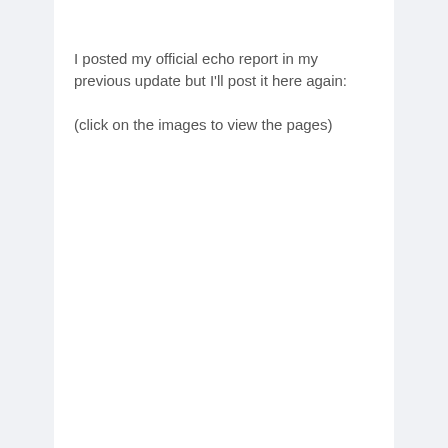I posted my official echo report in my previous update but I'll post it here again:
(click on the images to view the pages)